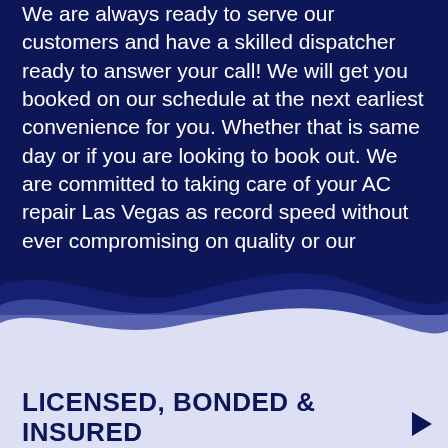We are always ready to serve our customers and have a skilled dispatcher ready to answer your call! We will get you booked on our schedule at the next earliest convenience for you. Whether that is same day or if you are looking to book out. We are committed to taking care of your AC repair Las Vegas as record speed without ever compromising on quality or our customer service.
[Figure (illustration): Wave transition divider between dark navy blue top section and light lavender/periwinkle bottom section, with multiple layered wave curves in dark navy, medium blue-grey, and light lavender]
LICENSED, BONDED & INSURED